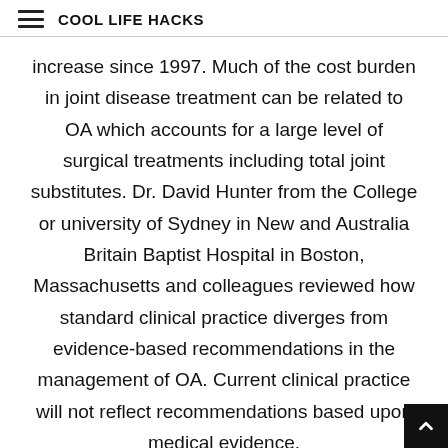COOL LIFE HACKS
increase since 1997. Much of the cost burden in joint disease treatment can be related to OA which accounts for a large level of surgical treatments including total joint substitutes. Dr. David Hunter from the College or university of Sydney in New and Australia Britain Baptist Hospital in Boston, Massachusetts and colleagues reviewed how standard clinical practice diverges from evidence-based recommendations in the management of OA. Current clinical practice will not reflect recommendations based upon medical evidence.
Family weight loss
We might not always utilize the available ideas in